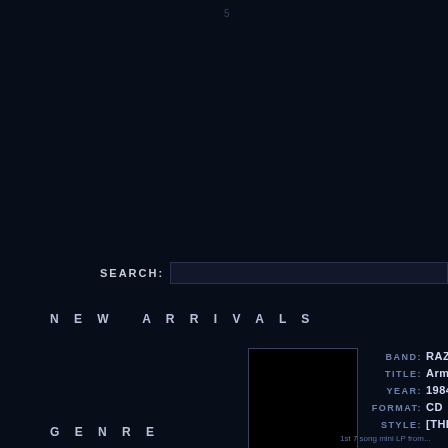SEARCH:
NEW ARRIVALS
[Figure (photo): Black album art square for a metal record]
BAND: RAZC  TITLE: Arme  YEAR: 1984  FORMAT: CD  STYLE: [THRA
GENRE
1st 7 song mini LP from...